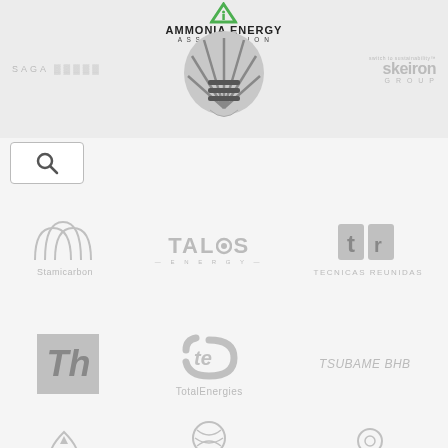[Figure (logo): Ammonia Energy Association logo with green triangle and text]
[Figure (logo): Shell pecten logo (greyscale)]
[Figure (logo): SAGA logo (greyscale text)]
[Figure (logo): Skeiron Group logo]
[Figure (logo): Search icon / search bar]
[Figure (logo): Stamicarbon logo with triangle marks]
[Figure (logo): Talos Energy logo]
[Figure (logo): Tecnicas Reunidas logo]
[Figure (logo): Th block logo (Thyssenkrupp or similar)]
[Figure (logo): TotalEnergies logo]
[Figure (logo): Tsubame BHB logo]
[Figure (logo): H2 drop logo]
[Figure (logo): Vesta logo]
[Figure (logo): Wonik Materials logo]